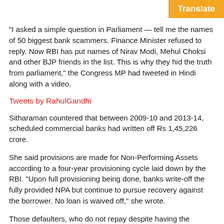“I asked a simple question in Parliament — tell me the names of 50 biggest bank scammers. Finance Minister refused to reply. Now RBI has put names of Nirav Modi, Mehul Choksi and other BJP friends in the list. This is why they hid the truth from parliament,” the Congress MP had tweeted in Hindi along with a video.
Tweets by RahulGandhi
Sitharaman countered that between 2009-10 and 2013-14, scheduled commercial banks had written off Rs 1,45,226 crore.
She said provisions are made for Non-Performing Assets according to a four-year provisioning cycle laid down by the RBI. “Upon full provisioning being done, banks write-off the fully provided NPA but continue to pursue recovery against the borrower. No loan is waived off,” she wrote.
Those defaulters, who do not repay despite having the capacity to pay, divert or siphon-off funds, or dispose of secured assets without bank’s permission are